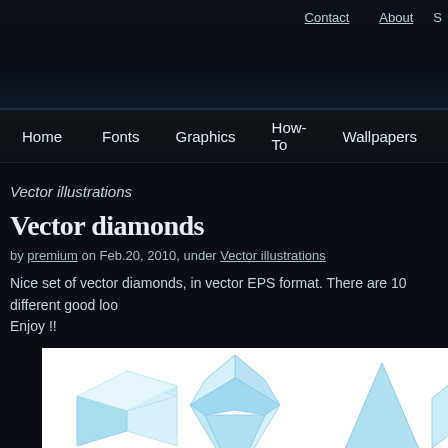Contact   About   S
Home   Fonts   Graphics   How-To   Wallpapers   Web desig
Vector illustrations
Vector diamonds
by premium on Feb.20, 2010, under Vector illustrations
Nice set of vector diamonds, in vector EPS format. There are 10 different good loo
Enjoy !!
[Figure (illustration): Three vector diamond/gem 3D shapes rendered in light blue/cyan glass style on white background: a cube, a multi-faceted diamond gem, and a pyramid/triangular prism. A fourth shape is partially visible at the right edge.]